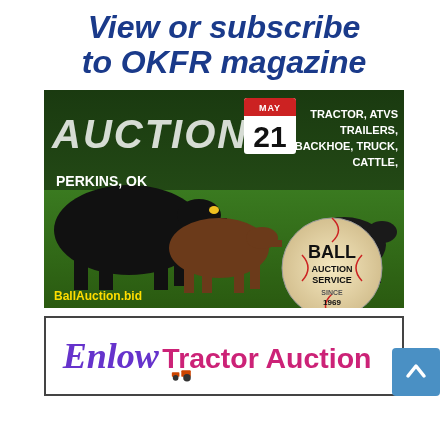View or subscribe to OKFR magazine
[Figure (photo): Ball Auction Service advertisement showing black cattle in a green field with text: AUCTION, MAY 21, TRACTOR, ATVS, TRAILERS, BACKHOE, TRUCK, CATTLE, PERKINS OK, Ball Auction Service Since 1969, BallAuction.bid]
[Figure (photo): Enlow Tractor Auction advertisement showing logo text in purple and pink/magenta colors]